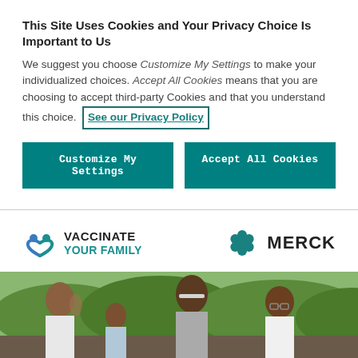This Site Uses Cookies and Your Privacy Choice Is Important to Us
We suggest you choose Customize My Settings to make your individualized choices. Accept All Cookies means that you are choosing to accept third-party Cookies and that you understand this choice. See our Privacy Policy
[Figure (other): Two teal/dark-teal buttons side by side: 'Customize My Settings' and 'Accept All Cookies']
[Figure (logo): Vaccinate Your Family logo with circular heart icon in teal/blue, and Merck logo with hexagonal flower icon]
[Figure (photo): Family of four (mother, father, and two children) smiling outdoors with green bushes/plants in background]